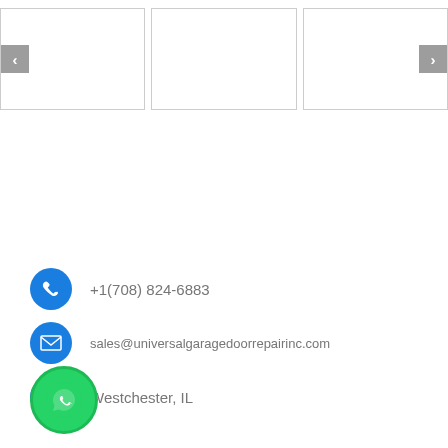[Figure (screenshot): Image slider with three empty white panels, left navigation arrow button on the left panel and right navigation arrow button on the right panel]
+1(708) 824-6883
sales@universalgaragedoorrepairinc.com
Westchester, IL
[Figure (logo): WhatsApp green circle button with phone/chat icon]